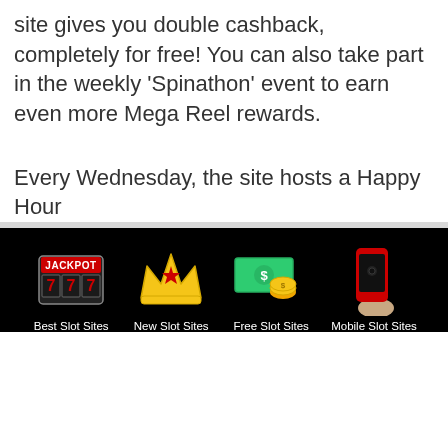site gives you double cashback, completely for free! You can also take part in the weekly ‘Spinathon’ event to earn even more Mega Reel rewards.
Every Wednesday, the site hosts a Happy Hour
[Figure (illustration): Slot machine jackpot icon with 777 reels and JACKPOT text, labeled Best Slot Sites]
[Figure (illustration): Golden crown with red star icon, labeled New Slot Sites]
[Figure (illustration): Green dollar bill with gold coins icon, labeled Free Slot Sites]
[Figure (illustration): Red smartphone held in hand icon, labeled Mobile Slot Sites]